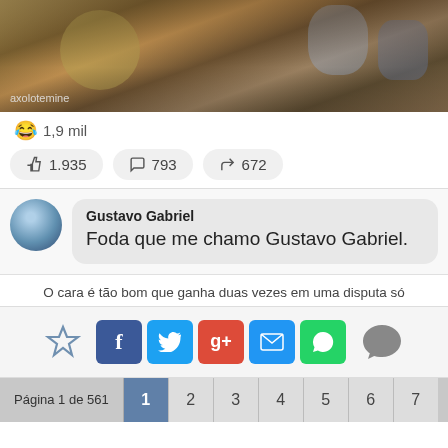[Figure (screenshot): Top portion of a meme image showing animated/game characters, with watermark text 'axolotemine' in bottom left]
😂 1,9 mil
👍 1.935   💬 793   ↗ 672
Gustavo Gabriel
Foda que me chamo Gustavo Gabriel.
O cara é tão bom que ganha duas vezes em uma disputa só
[Figure (infographic): Share bar with star/favorite icon, Facebook, Twitter, Google+, Email, WhatsApp buttons, and comment bubble icon]
Página 1 de 561   1  2  3  4  5  6  7